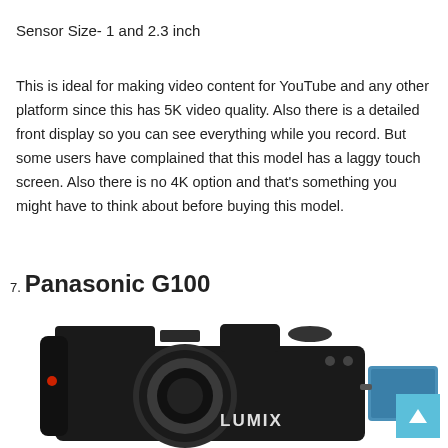Sensor Size- 1 and 2.3 inch
This is ideal for making video content for YouTube and any other platform since this has 5K video quality. Also there is a detailed front display so you can see everything while you record. But some users have complained that this model has a laggy touch screen. Also there is no 4K option and that's something you might have to think about before buying this model.
7. Panasonic G100
[Figure (photo): Panasonic Lumix G100 mirrorless camera with a flip screen, shown in black against a white background.]